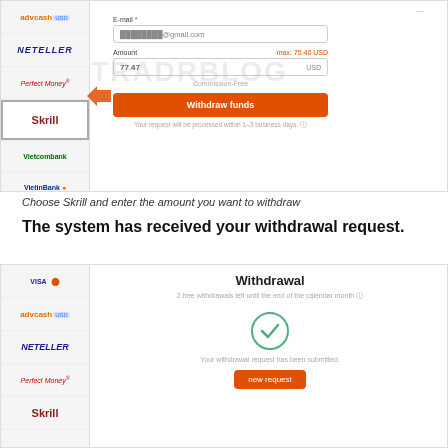[Figure (screenshot): Withdrawal form screenshot showing Skrill selected in left sidebar (with arrow pointing to it), and a form with E-mail field showing @gmail.com, Amount field showing 77.47 USD with max 75.40 USD, Commission-Free label, orange Withdraw funds button, and processing notice. Watermark TRADRBLOG visible.]
Choose Skrill and enter the amount you want to withdraw
The system has received your withdrawal request.
[Figure (screenshot): Withdrawal confirmation screen showing payment method sidebar with Visa/MC, AdvCash, Neteller, Perfect Money, Skrill logos. Main area shows Withdrawal title, '2 free withdrawals left until the end of the calendar month', a green checkmark circle, 'Your withdrawal request has been submitted.' text, and orange 'new request' button. Watermark TRADRBLOG visible.]